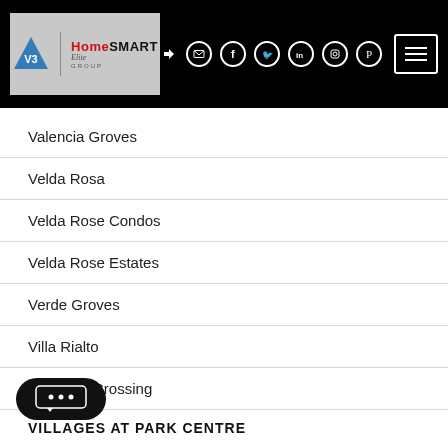Header with logo and navigation icons
Valencia Groves
Velda Rosa
Velda Rose Condos
Velda Rose Estates
Verde Groves
Villa Rialto
Heritage Crossing
VILLAGES AT PARK CENTRE